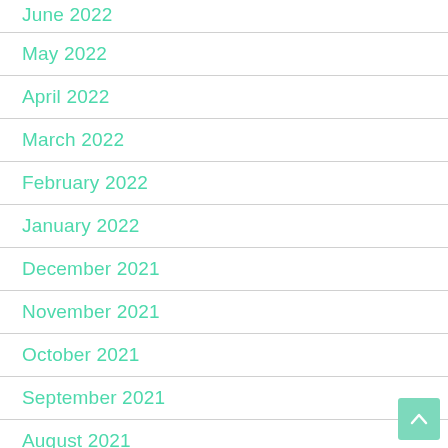June 2022
May 2022
April 2022
March 2022
February 2022
January 2022
December 2021
November 2021
October 2021
September 2021
August 2021
July 2021
June 2021